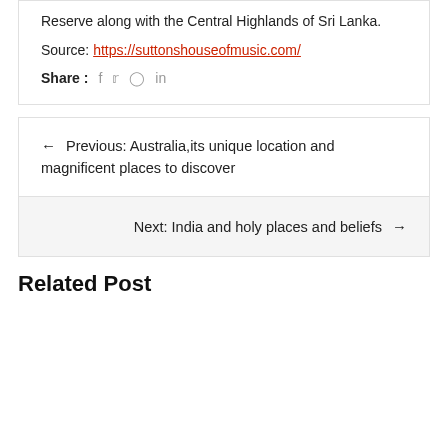Reserve along with the Central Highlands of Sri Lanka.
Source: https://suttonshouseofmusic.com/
Share : f  t  p  in
← Previous: Australia,its unique location and magnificent places to discover
Next: India and holy places and beliefs →
Related Post